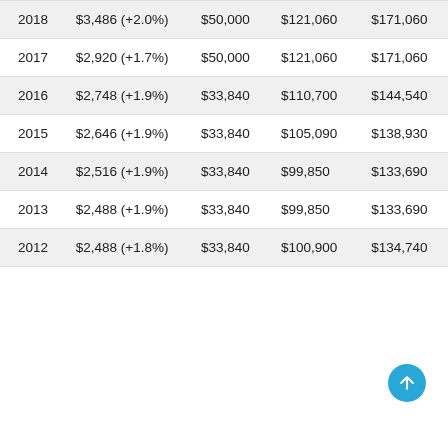| 2018 | $3,486 (+2.0%) | $50,000 | $121,060 | $171,060 |
| 2017 | $2,920 (+1.7%) | $50,000 | $121,060 | $171,060 |
| 2016 | $2,748 (+1.9%) | $33,840 | $110,700 | $144,540 |
| 2015 | $2,646 (+1.9%) | $33,840 | $105,090 | $138,930 |
| 2014 | $2,516 (+1.9%) | $33,840 | $99,850 | $133,690 |
| 2013 | $2,488 (+1.9%) | $33,840 | $99,850 | $133,690 |
| 2012 | $2,488 (+1.8%) | $33,840 | $100,900 | $134,740 |